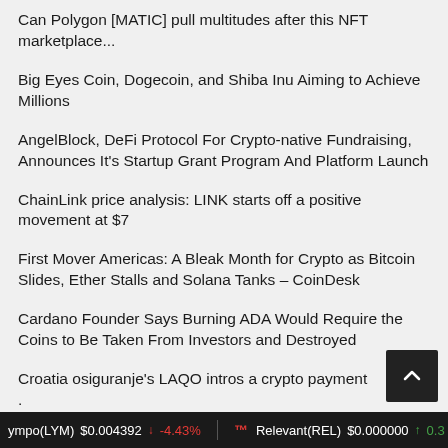Can Polygon [MATIC] pull multitudes after this NFT marketplace...
Big Eyes Coin, Dogecoin, and Shiba Inu Aiming to Achieve Millions
AngelBlock, DeFi Protocol For Crypto-native Fundraising, Announces It's Startup Grant Program And Platform Launch
ChainLink price analysis: LINK starts off a positive movement at $7
First Mover Americas: A Bleak Month for Crypto as Bitcoin Slides, Ether Stalls and Solana Tanks – CoinDesk
Cardano Founder Says Burning ADA Would Require the Coins to Be Taken From Investors and Destroyed
Croatia osiguranje's LAQO intros a crypto payment
ympo(LYM) $0.004392 ↓ -4.43%   Relevant(REL) $0.000000 ↑ 0.3